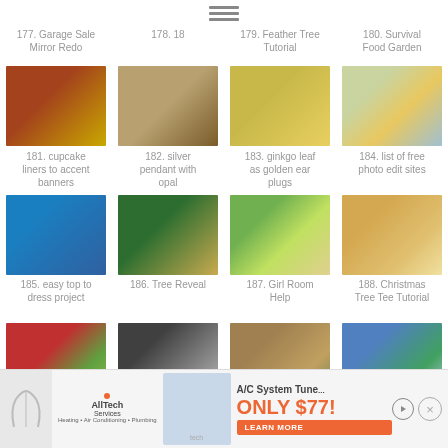[Figure (other): Hamburger menu icon (three horizontal lines)]
177. Garage Sale Mirror Redo
178. 18
179. Feather Tree Tutorial
180. Survival Food Garden
[Figure (photo): Cupcake liners accent banners]
[Figure (photo): Silver pendant with opal necklace]
[Figure (photo): Ginkgo leaf golden ear plugs]
[Figure (photo): Before/after photo edit comparison]
181. cupcake liners to accent banners
182. silver pendant with opal
183. ginkgo leaf as golden ear plugs
184. list of free photo edit sites
[Figure (photo): Girl in blue sparkly dress]
[Figure (photo): Christmas tree decorated]
[Figure (photo): Girl room with green furniture]
[Figure (photo): Christmas Tree Tee shirt tutorial]
185. easy top to dress project
186. Tree Reveal
187. Girl Room Help
188. Christmas Tree Tee Tutorial
[Figure (photo): Red floral wreath]
[Figure (photo): Seasoned Trees framed sign]
[Figure (photo): Tree outside building]
[Figure (photo): Two figures with blue/green hats]
[Figure (advertisement): AllTech Services A/C System Tune-up Only $77 advertisement with technician photo]